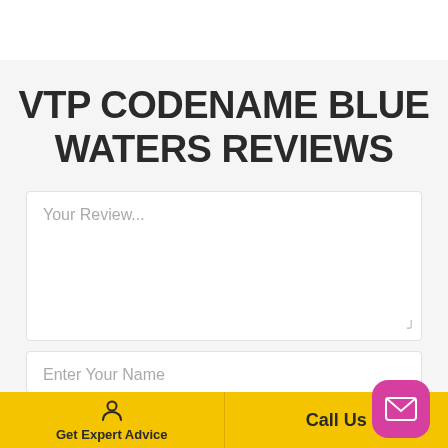VTP CODENAME BLUE WATERS REVIEWS
Your Review...
Enter Your Name
Get Expert Advice   Call Us